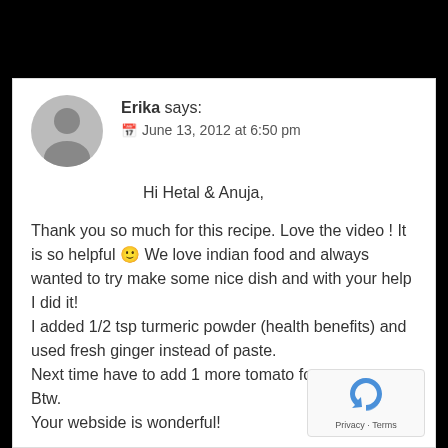Erika says:
📅 June 13, 2012 at 6:50 pm
Hi Hetal & Anuja,

Thank you so much for this recipe. Love the video ! It is so helpful 🙂 We love indian food and always wanted to try make some nice dish and with your help I did it!
I added 1/2 tsp turmeric powder (health benefits) and used fresh ginger instead of paste.
Next time have to add 1 more tomato for more sauce.
Btw.
Your webside is wonderful!

E